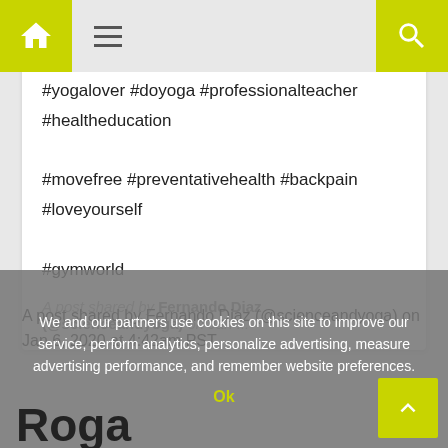Navigation bar with home, menu, and search icons
#yogalover #doyoga #professionalteacher #healtheducation #movefree #preventativehealth #backpain #loveyourself #gymworld
A post shared by Fernando Diaz (@scienceandyoga) on Jan ...
A post shared by Fernando Diaz (@scienceandyoga) on Jan 6, 2020 at 4:42am PST
We and our partners use cookies on this site to improve our service, perform analytics, personalize advertising, measure advertising performance, and remember website preferences.
Ok
Roga